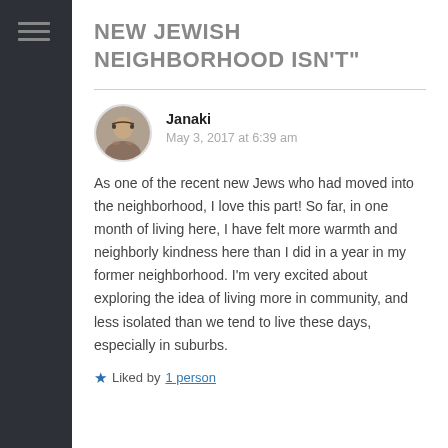NEW JEWISH NEIGHBORHOOD ISN'T"
Janaki
May 3, 2017 at 6:39 am
As one of the recent new Jews who had moved into the neighborhood, I love this part! So far, in one month of living here, I have felt more warmth and neighborly kindness here than I did in a year in my former neighborhood. I’m very excited about exploring the idea of living more in community, and less isolated than we tend to live these days, especially in suburbs.
Liked by 1 person